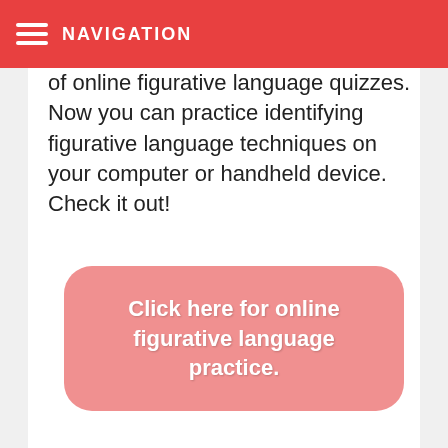NAVIGATION
of online figurative language quizzes. Now you can practice identifying figurative language techniques on your computer or handheld device. Check it out!
Click here for online figurative language practice.
How to identify figurative language techniques: